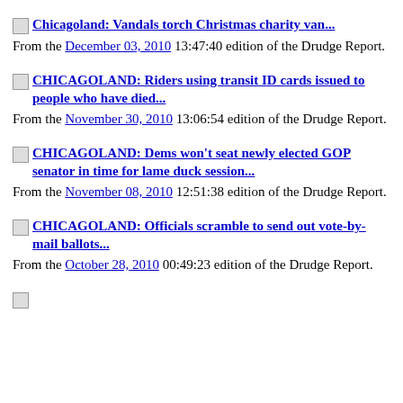Chicagoland: Vandals torch Christmas charity van... From the December 03, 2010 13:47:40 edition of the Drudge Report.
CHICAGOLAND: Riders using transit ID cards issued to people who have died... From the November 30, 2010 13:06:54 edition of the Drudge Report.
CHICAGOLAND: Dems won't seat newly elected GOP senator in time for lame duck session... From the November 08, 2010 12:51:38 edition of the Drudge Report.
CHICAGOLAND: Officials scramble to send out vote-by-mail ballots... From the October 28, 2010 00:49:23 edition of the Drudge Report.